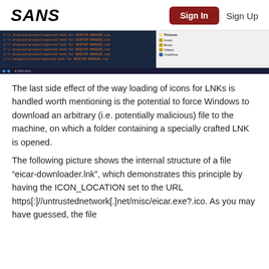SANS | Sign In | Sign Up
[Figure (screenshot): Screenshot showing a terminal window with orange text on dark blue background on the left, and a Windows Explorer window on the right, with a taskbar at the bottom.]
The last side effect of the way loading of icons for LNKs is handled worth mentioning is the potential to force Windows to download an arbitrary (i.e. potentially malicious) file to the machine, on which a folder containing a specially crafted LNK is opened.
The following picture shows the internal structure of a file “eicar-downloader.lnk”, which demonstrates this principle by having the ICON_LOCATION set to the URL https[:]//untrustednetwork[.]net/misc/eicar.exe?.ico. As you may have guessed, the file